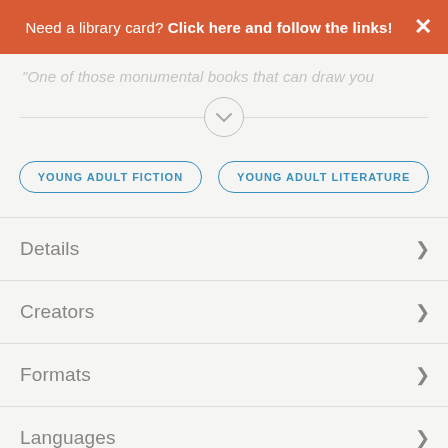Need a library card? Click here and follow the links!
"One of those monumental books that can draw you
[Figure (other): Chevron/down arrow in a circle, acting as a collapse/expand toggle button]
YOUNG ADULT FICTION
YOUNG ADULT LITERATURE
Details
Creators
Formats
Languages